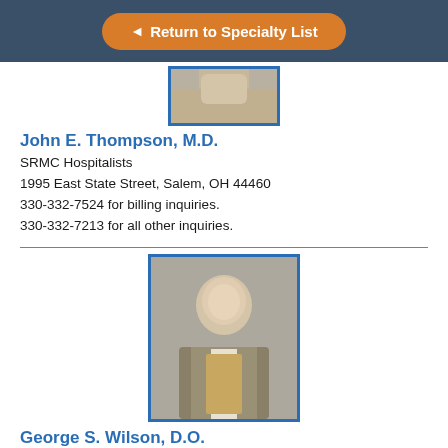◄ Return to Specialty List
[Figure (photo): Partial photo of a doctor at the top of the page (cropped)]
John E. Thompson, M.D.
SRMC Hospitalists
1995 East State Street, Salem, OH 44460
330-332-7524 for billing inquiries.
330-332-7213 for all other inquiries.
[Figure (photo): Professional headshot of George S. Wilson, D.O., a man in a suit with a tie, against a gray background]
George S. Wilson, D.O.
SRMC Hospitalists
1995 East State Street, Salem, OH 44460
330-332-7524 for billing inquiries.
330-332-7213 for all other inquiries.